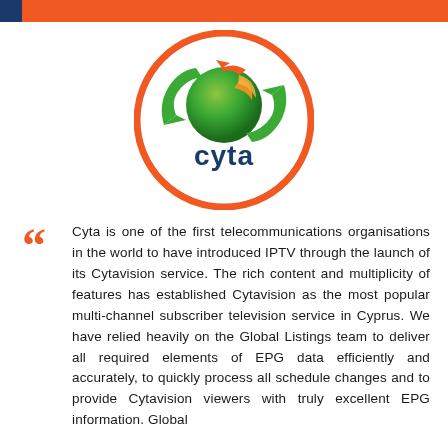[Figure (logo): Cyta logo: circular orange ring containing green recycling arrows around a green sphere with yellow/orange accent, with 'cyta' text in dark navy below the sphere]
Cyta is one of the first telecommunications organisations in the world to have introduced IPTV through the launch of its Cytavision service. The rich content and multiplicity of features has established Cytavision as the most popular multi-channel subscriber television service in Cyprus. We have relied heavily on the Global Listings team to deliver all required elements of EPG data efficiently and accurately, to quickly process all schedule changes and to provide Cytavision viewers with truly excellent EPG information. Global